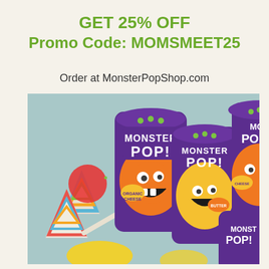GET 25% OFF
Promo Code: MOMSMEET25
Order at MonsterPopShop.com
[Figure (photo): Photo of Monster Pop popcorn bags in purple packaging with cartoon monster characters, arranged on a light blue table with colorful party hats and confetti]
Treat Yourself To Some Monster Pop